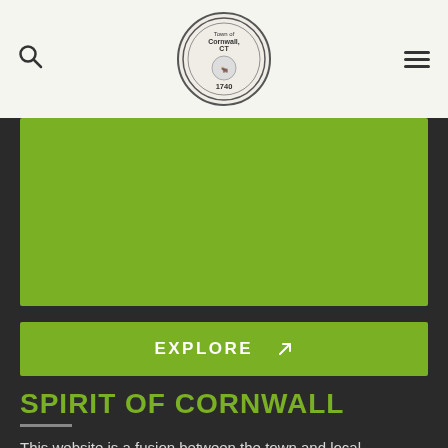Town of Cornwall CT — 1740 (logo) with search and menu icons
[Figure (illustration): Green banner/hero image area]
EXPLORE ↗
SPIRIT OF CORNWALL
This website is a fusion between the town and local community, which is so very Cornwall. Started as a grassroots effort in 2001, it is administered by a group of dedicated volunteers. Our site is growing...